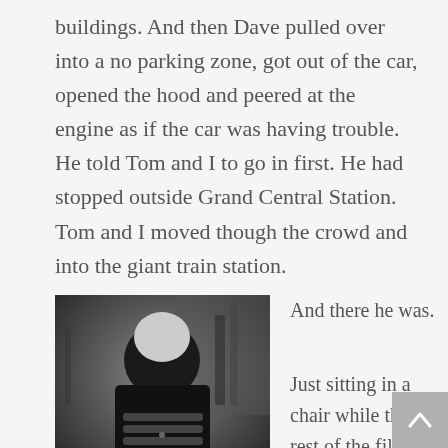buildings. And then Dave pulled over into a no parking zone, got out of the car, opened the hood and peered at the engine as if the car was having trouble. He told Tom and I to go in first. He had stopped outside Grand Central Station. Tom and I moved though the crowd and into the giant train station.
[Figure (photo): Black and white photograph of a person from behind, sitting in a chair, surrounded by film equipment and studio lighting.]
And there he was.

Just sitting in a chair while the rest of the film crew moved around the cameras and lights. Someone